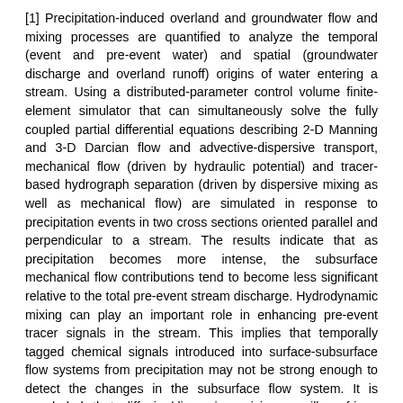[1] Precipitation-induced overland and groundwater flow and mixing processes are quantified to analyze the temporal (event and pre-event water) and spatial (groundwater discharge and overland runoff) origins of water entering a stream. Using a distributed-parameter control volume finite-element simulator that can simultaneously solve the fully coupled partial differential equations describing 2-D Manning and 3-D Darcian flow and advective-dispersive transport, mechanical flow (driven by hydraulic potential) and tracer-based hydrograph separation (driven by dispersive mixing as well as mechanical flow) are simulated in response to precipitation events in two cross sections oriented parallel and perpendicular to a stream. The results indicate that as precipitation becomes more intense, the subsurface mechanical flow contributions tend to become less significant relative to the total pre-event stream discharge. Hydrodynamic mixing can play an important role in enhancing pre-event tracer signals in the stream. This implies that temporally tagged chemical signals introduced into surface-subsurface flow systems from precipitation may not be strong enough to detect the changes in the subsurface flow system. It is concluded that diffusive/dispersive mixing, capillary fringe groundwater ridging, and macropore flow can influence the temporal sources of water in the stream, but any sole mechanism cannot fully explain the stream response to a single discharge. Furth...